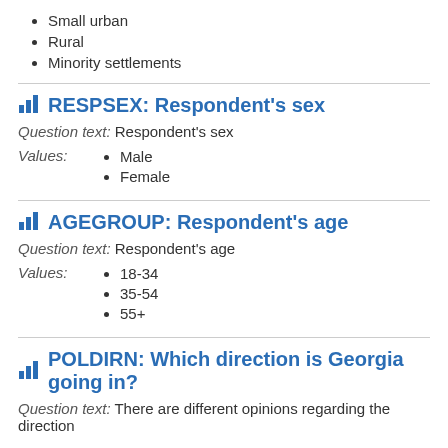Small urban
Rural
Minority settlements
RESPSEX: Respondent's sex
Question text: Respondent's sex
Male
Female
AGEGROUP: Respondent's age
Question text: Respondent's age
18-34
35-54
55+
POLDIRN: Which direction is Georgia going in?
Question text: There are different opinions regarding the direction